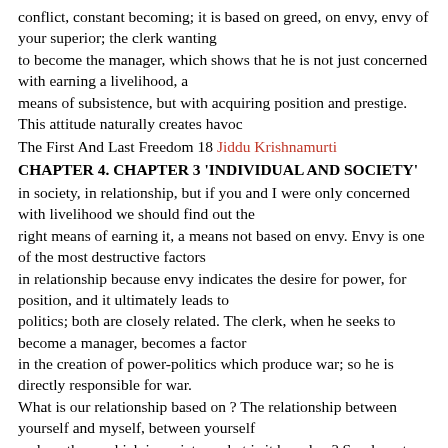conflict, constant becoming; it is based on greed, on envy, envy of your superior; the clerk wanting to become the manager, which shows that he is not just concerned with earning a livelihood, a means of subsistence, but with acquiring position and prestige. This attitude naturally creates havoc
The First And Last Freedom 18 Jiddu Krishnamurti
CHAPTER 4. CHAPTER 3 'INDIVIDUAL AND SOCIETY'
in society, in relationship, but if you and I were only concerned with livelihood we should find out the right means of earning it, a means not based on envy. Envy is one of the most destructive factors in relationship because envy indicates the desire for power, for position, and it ultimately leads to politics; both are closely related. The clerk, when he seeks to become a manager, becomes a factor in the creation of power-politics which produce war; so he is directly responsible for war. What is our relationship based on ? The relationship between yourself and myself, between yourself and another - which is society - what is it based on? Surely not on love, though we talk about it. It is not based on love, because if there were love there would be order, there would be peace, happiness between you and me. But in that relationship between you and me there is a great deal of ill will which assumes the form of respect. If we were both equal in thought, in